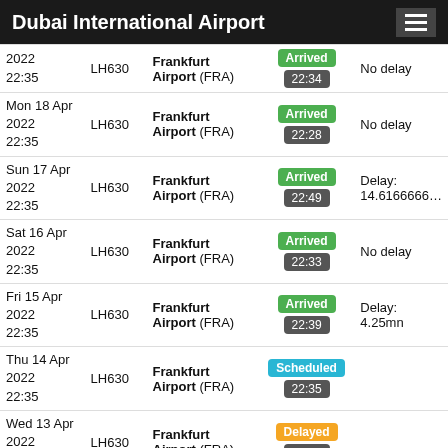Dubai International Airport
| Date | Flight | Destination | Status | Delay |
| --- | --- | --- | --- | --- |
| [partial] 2022 22:35 | LH630 | Frankfurt Airport (FRA) | Arrived 22:34 | No delay |
| Mon 18 Apr 2022 22:35 | LH630 | Frankfurt Airport (FRA) | Arrived 22:28 | No delay |
| Sun 17 Apr 2022 22:35 | LH630 | Frankfurt Airport (FRA) | Arrived 22:49 | Delay: 14.6166666... |
| Sat 16 Apr 2022 22:35 | LH630 | Frankfurt Airport (FRA) | Arrived 22:33 | No delay |
| Fri 15 Apr 2022 22:35 | LH630 | Frankfurt Airport (FRA) | Arrived 22:39 | Delay: 4.25mn |
| Thu 14 Apr 2022 22:35 | LH630 | Frankfurt Airport (FRA) | Scheduled 22:35 |  |
| Wed 13 Apr 2022 22:35 | LH630 | Frankfurt Airport (FRA) | Delayed 00:40 |  |